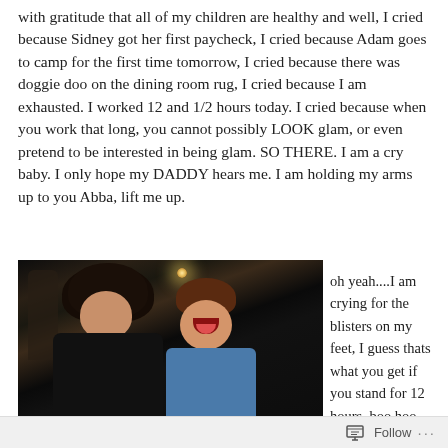with gratitude that all of my children are healthy and well, I cried because Sidney got her first paycheck, I cried because Adam goes to camp for the first time tomorrow, I cried because there was doggie doo on the dining room rug, I cried because I am exhausted. I worked 12 and 1/2 hours today. I cried because when you work that long, you cannot possibly LOOK glam, or even pretend to be interested in being glam. SO THERE. I am a cry baby. I only hope my DADDY hears me. I am holding my arms up to you Abba, lift me up.
[Figure (photo): A dark indoor photograph showing a woman with dark hair smiling next to a young boy who is making a funny face with his mouth open and tongue out. The background shows a dimly lit room with a light fixture visible.]
oh yeah....I am crying for the blisters on my feet, I guess thats what you get if you stand for 12 hours. boo hoo.
Follow ...